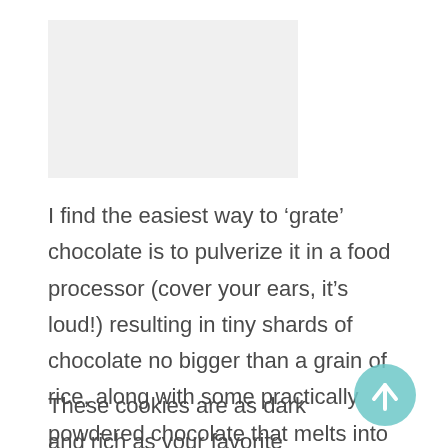[Figure (photo): Light gray placeholder image area at top of page]
I find the easiest way to ‘grate’ chocolate is to pulverize it in a food processor (cover your ears, it’s loud!) resulting in tiny shards of chocolate no bigger than a grain of rice, along with some practically powdered chocolate that melts into the cookie as it bakes, adding a sultry richness that can’t be achieved with cocoa alone.
These cookies are as dark and rich as your favorite